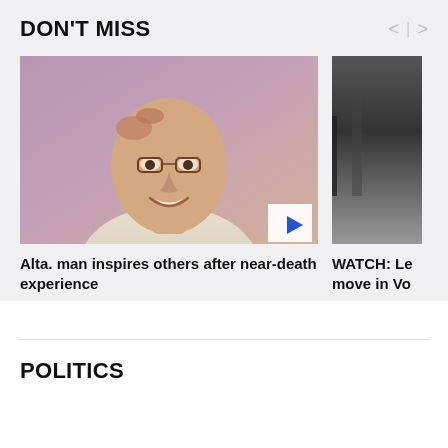DON'T MISS
[Figure (photo): Portrait photo of a balding man with glasses, smiling, against a purple/mauve background. A blue play button triangle is overlaid in the bottom right corner.]
Alta. man inspires others after near-death experience
[Figure (photo): Partially visible second article thumbnail showing a dark scene, cropped at the right edge.]
WATCH: Le move in Vo
POLITICS